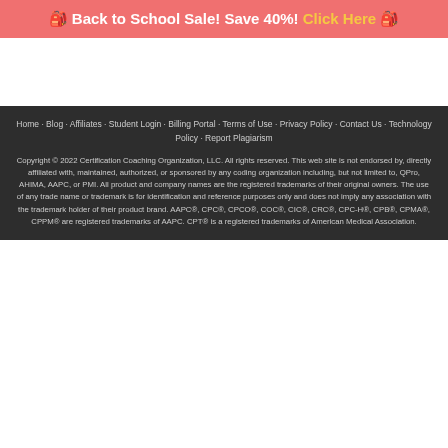🎒 Back to School Sale! Save 40%! Click Here 🎒
Home · Blog · Affiliates · Student Login · Billing Portal · Terms of Use · Privacy Policy · Contact Us · Technology Policy · Report Plagiarism
Copyright © 2022 Certification Coaching Organization, LLC. All rights reserved. This web site is not endorsed by, directly affiliated with, maintained, authorized, or sponsored by any coding organization including, but not limited to, QPro, AHIMA, AAPC, or PMI. All product and company names are the registered trademarks of their original owners. The use of any trade name or trademark is for identification and reference purposes only and does not imply any association with the trademark holder of their product brand. AAPC®, CPC®, CPCO®, COC®, CIC®, CRC®, CPC-H®, CPB®, CPMA®, CPPM® are registered trademarks of AAPC. CPT® is a registered trademarks of American Medical Association.